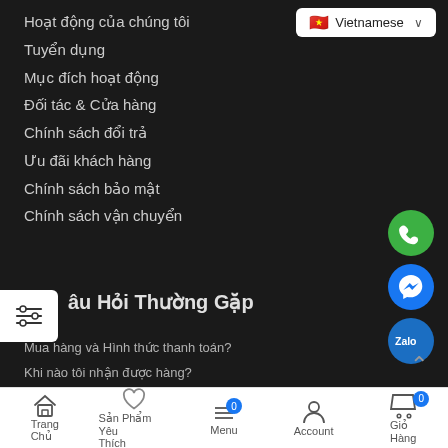Hoạt động của chúng tôi
Tuyển dụng
Mục đích hoạt động
Đối tác & Cửa hàng
Chính sách đổi trả
Ưu đãi khách hàng
Chính sách bảo mật
Chính sách vận chuyển
Câu Hỏi Thường Gặp
Mua hàng và Hình thức thanh toán?
Khi nào tôi nhận được hàng?
Làm thế nào để đổi trả được sản phẩm?
Tôi có được kiểm tra hàng trước khi nhận không?
[Figure (screenshot): Vietnamese language selector with flag]
[Figure (infographic): Floating contact icons: phone (green), messenger (blue), zalo (blue)]
Trang Chủ | Sản Phẩm | Yêu Thích | Menu | Account | Giỏ Hàng